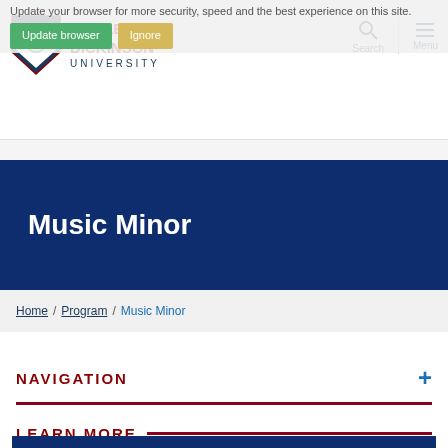Update your browser for more security, speed and the best experience on this site.
[Figure (logo): Fairleigh Dickinson University shield logo and text]
Music Minor
Home / Program / Music Minor
NAVIGATION
LEARN MORE